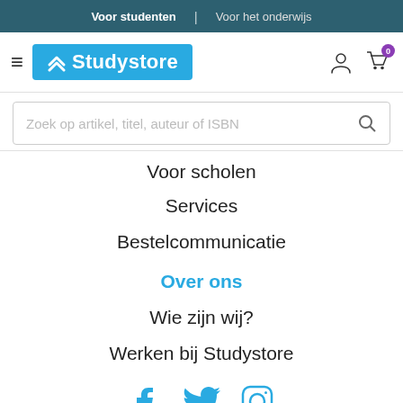Voor studenten | Voor het onderwijs
[Figure (logo): Studystore logo with blue background and double chevron icon]
Zoek op artikel, titel, auteur of ISBN
Voor scholen
Services
Bestelcommunicatie
Over ons
Wie zijn wij?
Werken bij Studystore
[Figure (illustration): Social media icons: Facebook, Twitter, Instagram in blue]